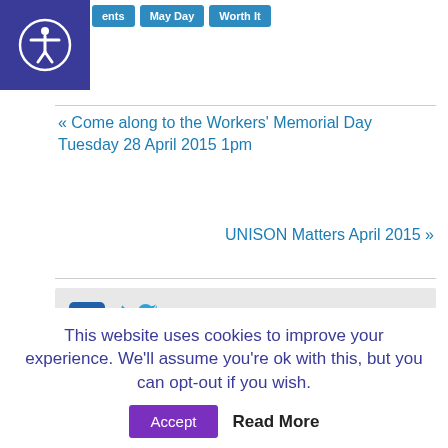ents | May Day | Worth It
« Come along to the Workers' Memorial Day Tuesday 28 April 2015 1pm
UNISON Matters April 2015 »
[Figure (screenshot): Social media icons: Facebook, Twitter, Google+]
Search ...
LATEST UPDATES
Strikes will go ahead as union rejects "derisory"
This website uses cookies to improve your experience. We'll assume you're ok with this, but you can opt-out if you wish.
Accept   Read More